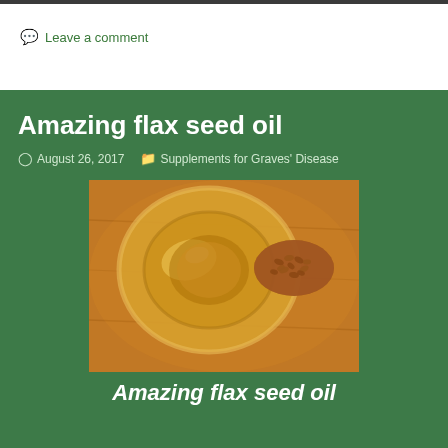💬 Leave a comment
Amazing flax seed oil
August 26, 2017   Supplements for Graves' Disease
[Figure (photo): Top-down view of a glass bowl of golden flax seed oil beside a wooden spoon filled with flax seeds, on a warm wooden surface]
Amazing flax seed oil